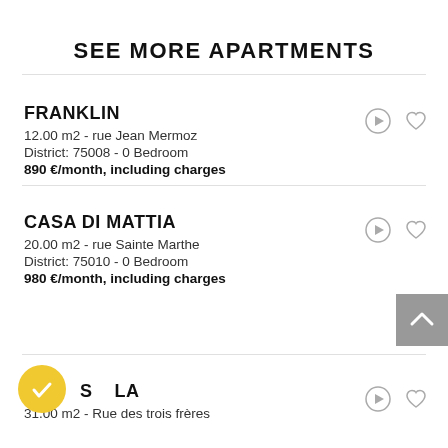SEE MORE APARTMENTS
FRANKLIN
12.00 m2 - rue Jean Mermoz
District: 75008 - 0 Bedroom
890 €/month, including charges
CASA DI MATTIA
20.00 m2 - rue Sainte Marthe
District: 75010 - 0 Bedroom
980 €/month, including charges
S__LA
31.00 m2 - Rue des trois frères